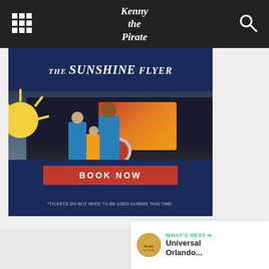Kenny the Pirate
[Figure (photo): The Sunshine Flyer advertisement showing a family crossing a crosswalk in front of a train-themed bus, with a Book Now button and disclaimer text]
BOOK NOW
*TICKETS DO NOT NEED TO BE USED DURING THIS TIME.
1
WHAT'S NEXT → Universal Orlando...